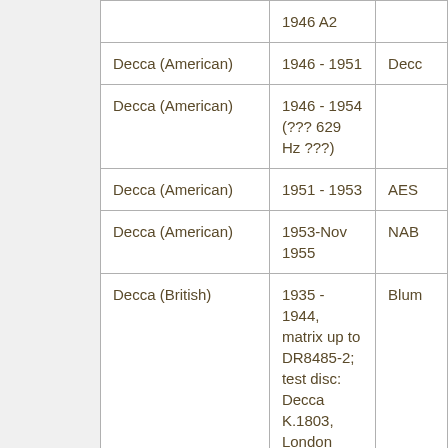| Label | Date Range | Standard/Note |
| --- | --- | --- |
|  | 1946 A2 |  |
| Decca (American) | 1946 - 1951 | Decc... |
| Decca (American) | 1946 - 1954 (??? 629 Hz ???) |  |
| Decca (American) | 1951 - 1953 | AES |
| Decca (American) | 1953-Nov 1955 | NAB |
| Decca (British) | 1935 - 1944, matrix up to DR8485-2; test disc: Decca K.1803, London T.4997 | Blum... |
| Decca (British) | to 1944 | Europ... |
|  | 1944 - 1955, ffrr, cat. nos. |  |